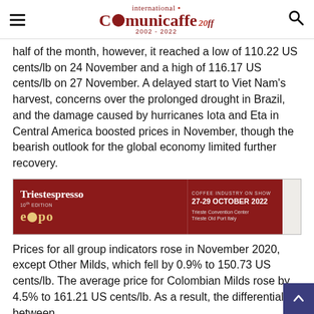international Comunicaffe 20 2002-2022
half of the month, however, it reached a low of 110.22 US cents/lb on 24 November and a high of 116.17 US cents/lb on 27 November. A delayed start to Viet Nam's harvest, concerns over the prolonged drought in Brazil, and the damage caused by hurricanes Iota and Eta in Central America boosted prices in November, though the bearish outlook for the global economy limited further recovery.
[Figure (other): Triestespresso Expo 10th Edition advertisement banner: Coffee Industry on Show, 27-29 October 2022, Trieste Convention Center, Trieste Old Port Italy. Same location new venue.]
Prices for all group indicators rose in November 2020, except Other Milds, which fell by 0.9% to 150.73 US cents/lb. The average price for Colombian Milds rose by 4.5% to 161.21 US cents/lb. As a result, the differential between